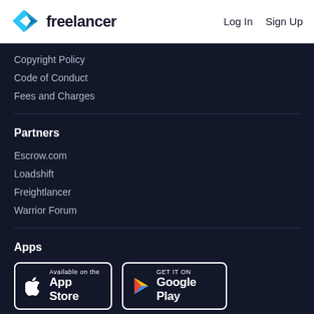freelancer  Log In  Sign Up
Copyright Policy
Code of Conduct
Fees and Charges
Partners
Escrow.com
Loadshift
Freightlancer
Warrior Forum
Apps
[Figure (logo): Available on the App Store button]
[Figure (logo): GET IT ON Google Play button]
[Figure (logo): Social media icons row: Facebook, Twitter, YouTube, Instagram]